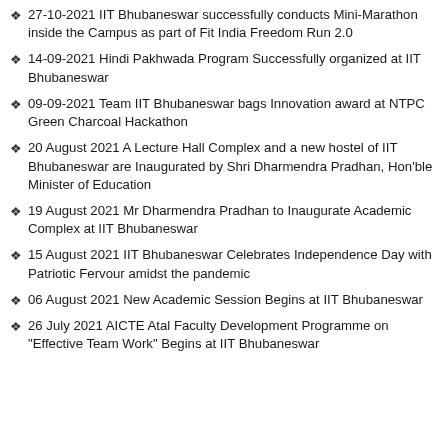27-10-2021 IIT Bhubaneswar successfully conducts Mini-Marathon inside the Campus as part of Fit India Freedom Run 2.0
14-09-2021 Hindi Pakhwada Program Successfully organized at IIT Bhubaneswar
09-09-2021 Team IIT Bhubaneswar bags Innovation award at NTPC Green Charcoal Hackathon
20 August 2021 A Lecture Hall Complex and a new hostel of IIT Bhubaneswar are Inaugurated by Shri Dharmendra Pradhan, Hon'ble Minister of Education
19 August 2021 Mr Dharmendra Pradhan to Inaugurate Academic Complex at IIT Bhubaneswar
15 August 2021 IIT Bhubaneswar Celebrates Independence Day with Patriotic Fervour amidst the pandemic
06 August 2021 New Academic Session Begins at IIT Bhubaneswar
26 July 2021 AICTE Atal Faculty Development Programme on "Effective Team Work" Begins at IIT Bhubaneswar